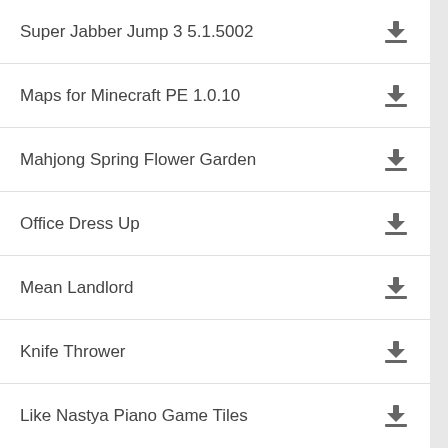Super Jabber Jump 3 5.1.5002
Maps for Minecraft PE 1.0.10
Mahjong Spring Flower Garden
Office Dress Up
Mean Landlord
Knife Thrower
Like Nastya Piano Game Tiles